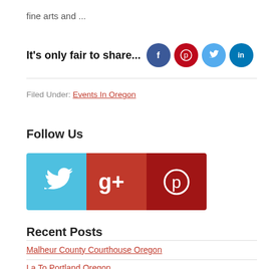fine arts and ...
It's only fair to share...
[Figure (infographic): Social sharing icons: Facebook (dark blue circle), Pinterest (red circle with P), Twitter (light blue circle with bird), LinkedIn (teal circle with 'in')]
Filed Under: Events In Oregon
Follow Us
[Figure (infographic): Three social media square icons: Twitter (blue with bird), Google+ (red with g+), Pinterest (dark red with P)]
Recent Posts
Malheur County Courthouse Oregon
La To Portland Oregon